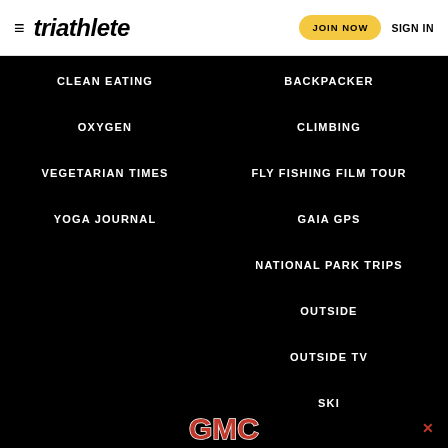triathlete | JOIN NOW | SIGN IN
CLEAN EATING
BACKPACKER
OXYGEN
CLIMBING
VEGETARIAN TIMES
FLY FISHING FILM TOUR
YOGA JOURNAL
GAIA GPS
NATIONAL PARK TRIPS
OUTSIDE
OUTSIDE TV
SKI
[Figure (logo): GMC advertisement banner at the bottom of the page]